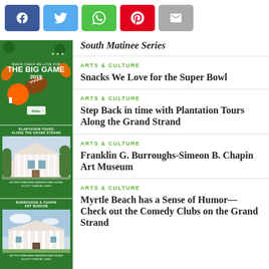[Figure (screenshot): Social share buttons: Facebook (blue), Twitter (light blue), WhatsApp (green), Pinterest (red), Email (gray)]
[Figure (illustration): Sidebar image: The Big Game 2019 snack ideas promotional graphic on green background with sports icons]
[Figure (photo): Sidebar image: Plantation Tours Along the Grand Strand - white plantation house]
[Figure (photo): Sidebar image: Burroughs & Chapin Art Museum - white building exterior]
[Figure (photo): Sidebar image: Comedy Along the Grand Strand - performer photo]
South Matinee Series
ARTS & CULTURE
Snacks We Love for the Super Bowl
ARTS & CULTURE
Step Back in time with Plantation Tours Along the Grand Strand
ARTS & CULTURE
Franklin G. Burroughs-Simeon B. Chapin Art Museum
ARTS & CULTURE
Myrtle Beach has a Sense of Humor—Check out the Comedy Clubs on the Grand Strand